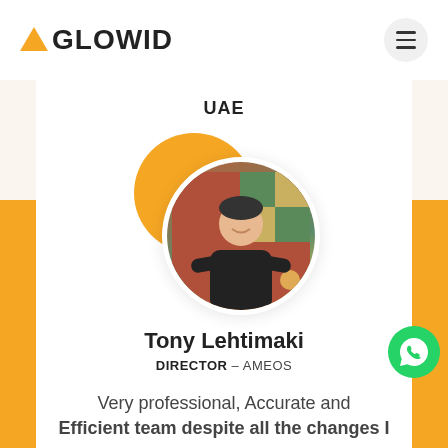AGLOWID
UAE
[Figure (photo): Circular profile photo of Tony Lehtimaki, a young man with crossed arms wearing a black t-shirt, with orange and teal decorative background circles]
Tony Lehtimaki
DIRECTOR - AMEOS
Very professional, Accurate and Efficient team despite all the changes I